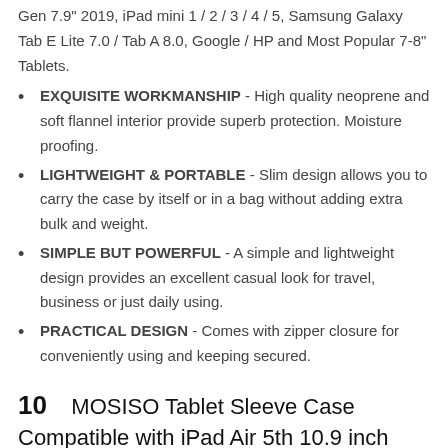Gen 7.9" 2019, iPad mini 1 / 2 / 3 / 4 / 5, Samsung Galaxy Tab E Lite 7.0 / Tab A 8.0, Google / HP and Most Popular 7-8" Tablets.
EXQUISITE WORKMANSHIP - High quality neoprene and soft flannel interior provide superb protection. Moisture proofing.
LIGHTWEIGHT & PORTABLE - Slim design allows you to carry the case by itself or in a bag without adding extra bulk and weight.
SIMPLE BUT POWERFUL - A simple and lightweight design provides an excellent casual look for travel, business or just daily using.
PRACTICAL DESIGN - Comes with zipper closure for conveniently using and keeping secured.
10   MOSISO Tablet Sleeve Case Compatible with iPad Air 5th 10.9 inch 2022, iPad Pro 11 inch 3/2/1 2021-2018, iPad 9/8/7 10.2, iPad Air 4 10.9/Air 3 10.5, iPad